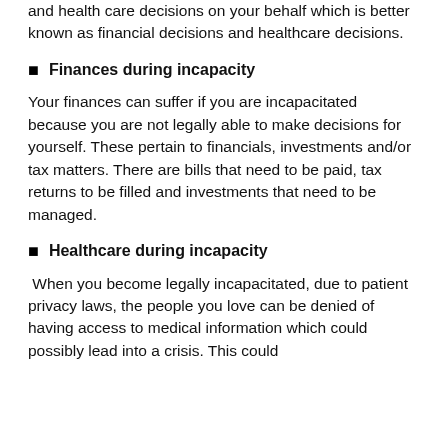and health care decisions on your behalf which is better known as financial decisions and healthcare decisions.
Finances during incapacity
Your finances can suffer if you are incapacitated because you are not legally able to make decisions for yourself. These pertain to financials, investments and/or tax matters. There are bills that need to be paid, tax returns to be filled and investments that need to be managed.
Healthcare during incapacity
When you become legally incapacitated, due to patient privacy laws, the people you love can be denied of having access to medical information which could possibly lead into a crisis. This could